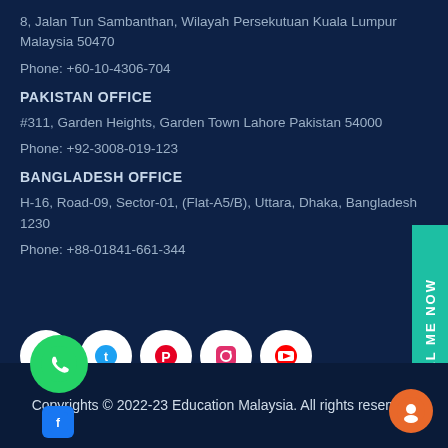8, Jalan Tun Sambanthan, Wilayah Persekutuan Kuala Lumpur Malaysia 50470
Phone: +60-10-4306-704
PAKISTAN OFFICE
#311, Garden Heights, Garden Town Lahore Pakistan 54000
Phone: +92-3008-019-123
BANGLADESH OFFICE
H-16, Road-09, Sector-01, (Flat-A5/B), Uttara, Dhaka, Bangladesh 1230
Phone: +88-01841-661-344
[Figure (illustration): Row of social media icons: Facebook, Twitter, Pinterest, Instagram, YouTube]
[Figure (illustration): CALL ME NOW vertical tab on right side]
Copyrights © 2022-23 Education Malaysia. All rights reserved.